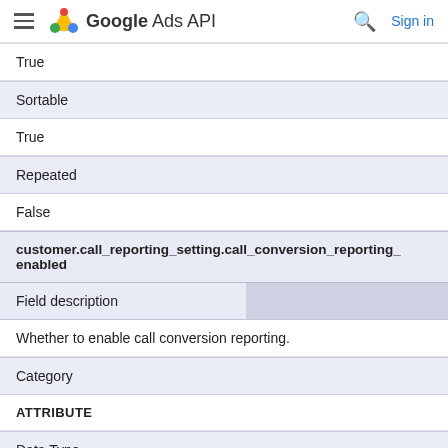Google Ads API
True
| Sortable |
| --- |
| True |
| Repeated |
| --- |
| False |
| customer.call_reporting_setting.call_conversion_reporting_enabled |
| --- |
| Field description |  |
| Whether to enable call conversion reporting. |  |
| Category |  |
| ATTRIBUTE |  |
| Data Type |  |
Whether to enable call conversion reporting.
Category
ATTRIBUTE
Data Type